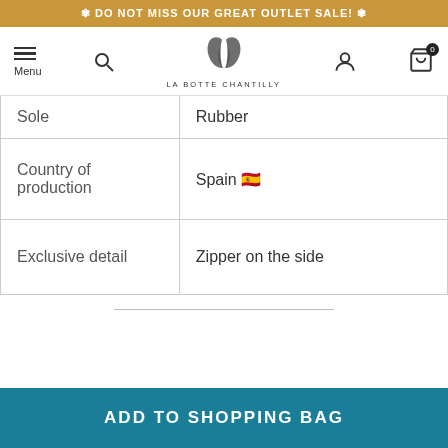✾ DO NOT MISS OUR GREAT OUTLET SALE! ✾
[Figure (logo): La Botte Chantilly logo with navigation bar including menu, search, user and cart icons]
| Sole | Rubber |
| Country of production | Spain 🇪🇸 |
| Exclusive detail | Zipper on the side |
ADD TO SHOPPING BAG